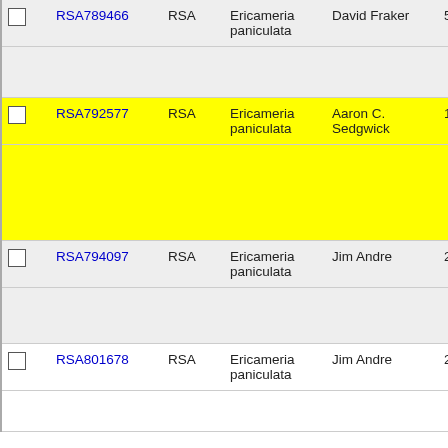|  | ID | Type | Species | Collector | Number | Year |
| --- | --- | --- | --- | --- | --- | --- |
| ☐ | RSA789466 | RSA | Ericameria paniculata | David Fraker | 56 | 201 |
| ☐ | RSA792577 | RSA | Ericameria paniculata | Aaron C. Sedgwick | 158 | 201 |
| ☐ | RSA794097 | RSA | Ericameria paniculata | Jim Andre | 21457 | 201 12 |
| ☐ | RSA801678 | RSA | Ericameria paniculata | Jim Andre | 23141 | 201 |